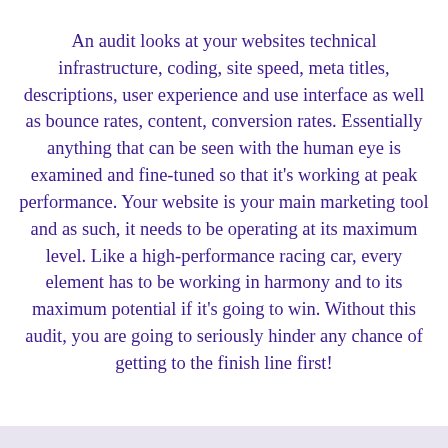An audit looks at your websites technical infrastructure, coding, site speed, meta titles, descriptions, user experience and use interface as well as bounce rates, content, conversion rates. Essentially anything that can be seen with the human eye is examined and fine-tuned so that it's working at peak performance. Your website is your main marketing tool and as such, it needs to be operating at its maximum level. Like a high-performance racing car, every element has to be working in harmony and to its maximum potential if it's going to win. Without this audit, you are going to seriously hinder any chance of getting to the finish line first!